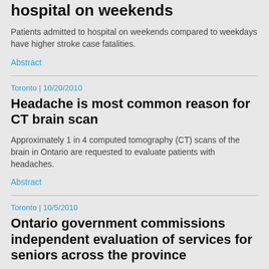hospital on weekends
Patients admitted to hospital on weekends compared to weekdays have higher stroke case fatalities.
Abstract
Toronto | 10/20/2010
Headache is most common reason for CT brain scan
Approximately 1 in 4 computed tomography (CT) scans of the brain in Ontario are requested to evaluate patients with headaches.
Abstract
Toronto | 10/5/2010
Ontario government commissions independent evaluation of services for seniors across the province
Initial report shows longer wait times for long-term care but faster